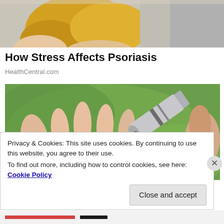[Figure (photo): Cropped photo showing a person in a yellow outfit sitting, partial view from mid-torso downward, with a grey background]
How Stress Affects Psoriasis
HealthCentral.com
[Figure (photo): Close-up photo of a hand being squeezed by a cream/ointment tube with a metallic silver tube nozzle, against a green blurred background]
Privacy & Cookies: This site uses cookies. By continuing to use this website, you agree to their use.
To find out more, including how to control cookies, see here: Cookie Policy
Close and accept